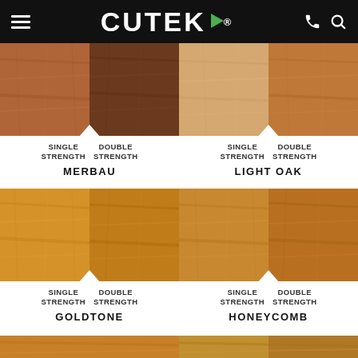CUTEK® — navigation header with menu, logo, phone and search icons
[Figure (photo): Merbau wood stain swatch showing single strength (medium brown) and double strength (dark brown) color panels with notch detail]
SINGLE STRENGTH   DOUBLE STRENGTH
MERBAU
[Figure (photo): Light Oak wood stain swatch showing single strength (light tan) and double strength (warm golden) color panels with notch detail]
SINGLE STRENGTH   DOUBLE STRENGTH
LIGHT OAK
[Figure (photo): Goldtone wood stain swatch showing single strength (golden amber) and double strength (deeper amber) color panels with notch detail]
SINGLE STRENGTH   DOUBLE STRENGTH
GOLDTONE
[Figure (photo): Honeycomb wood stain swatch showing single strength (warm amber) and double strength (deeper amber) color panels with notch detail]
SINGLE STRENGTH   DOUBLE STRENGTH
HONEYCOMB